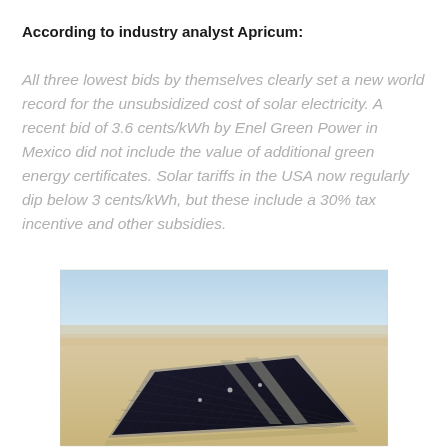According to industry analyst Apricum:
All three lowest bids by themselves clearly set a new world record for the unsubsidized cost of solar electricity. A recent bid of 3.6 cents/kWh by Enel Green Power in Mexico did not include the value of additional green energy certificates. Solar tariffs in the USA now regularly dip below 3 cents/kWh, but these include a 30% tax incentive and other subsidies.
[Figure (photo): Aerial photograph of a large solar panel farm in a desert landscape, with rows of dark photovoltaic panels arranged in a rectangular pattern, surrounded by sandy terrain under a light blue sky.]